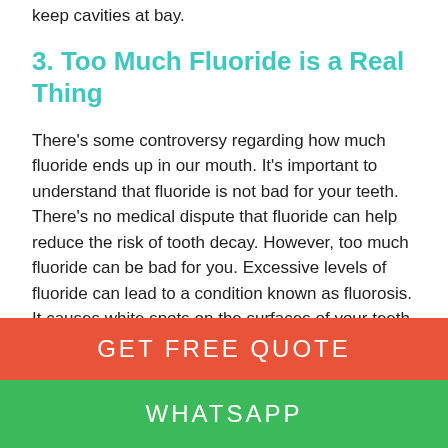keep cavities at bay.
3. Too Much Fluoride is a Real Thing
There's some controversy regarding how much fluoride ends up in our mouth. It's important to understand that fluoride is not bad for your teeth. There's no medical dispute that fluoride can help reduce the risk of tooth decay. However, too much fluoride can be bad for you. Excessive levels of fluoride can lead to a condition known as fluorosis. It causes white spots on the surfaces of your teeth. These spots are usually mild. The condition is not considered serious. However, doctors do recommend keeping your fluoride consumption levels to necessary limits. The problem is, in the
GET FREE QUOTE
WHATSAPP